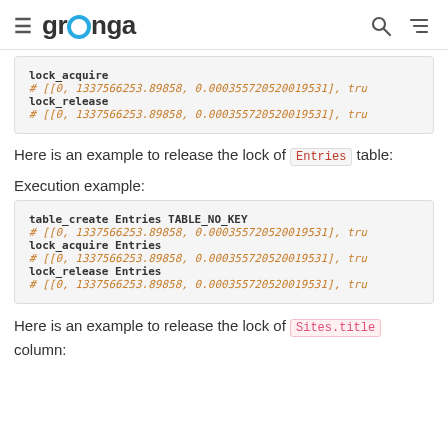groonga
lock_acquire
# [[0, 1337566253.89858, 0.000355720520019531], tru
lock_release
# [[0, 1337566253.89858, 0.000355720520019531], tru
Here is an example to release the lock of Entries table:
Execution example:
table_create Entries TABLE_NO_KEY
# [[0, 1337566253.89858, 0.000355720520019531], tru
lock_acquire Entries
# [[0, 1337566253.89858, 0.000355720520019531], tru
lock_release Entries
# [[0, 1337566253.89858, 0.000355720520019531], tru
Here is an example to release the lock of Sites.title column: